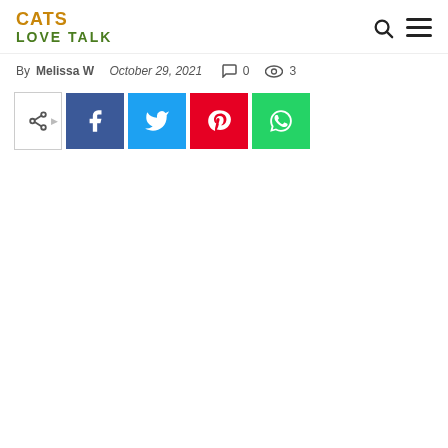CATS LOVE TALK
By Melissa W   October 29, 2021   0   3
[Figure (other): Social share bar with share toggle, Facebook, Twitter, Pinterest, and WhatsApp buttons]